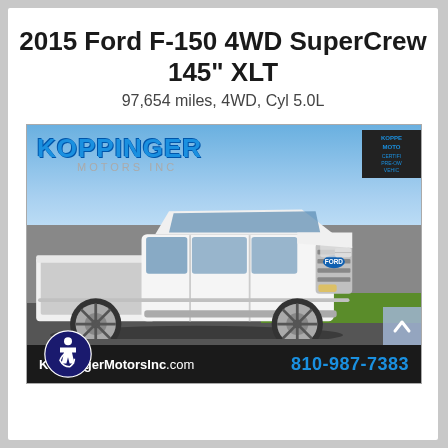2015 Ford F-150 4WD SuperCrew 145" XLT
97,654 miles, 4WD, Cyl 5.0L
[Figure (photo): White 2015 Ford F-150 4WD SuperCrew truck parked at Koppinger Motors Inc dealership lot. The truck is white with chrome wheels. The dealership sign reads KOPPINGER MOTORS INC in blue letters. Bottom banner shows KoppingerMotorsInc.com and phone number 810-987-7383.]